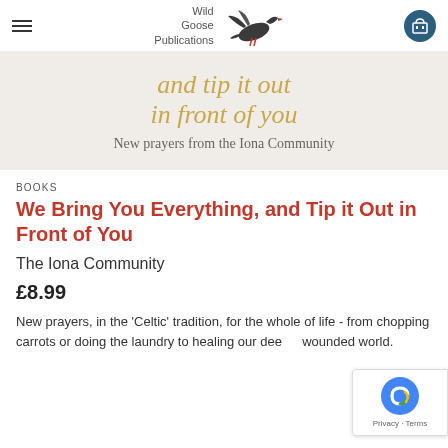Wild Goose Publications — navigation bar with hamburger menu and cart
[Figure (illustration): Book cover detail showing italic gold text 'and tip it out' and 'in front of you' with subtitle 'New prayers from the Iona Community' on a beige background]
BOOKS
We Bring You Everything, and Tip it Out in Front of You
The Iona Community
£8.99
New prayers, in the 'Celtic' tradition, for the whole of life - from chopping carrots or doing the laundry to healing our deeply wounded world.